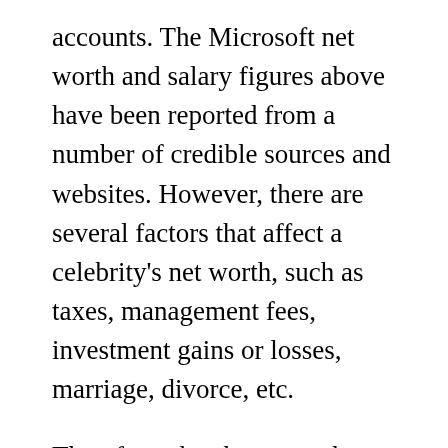accounts. The Microsoft net worth and salary figures above have been reported from a number of credible sources and websites. However, there are several factors that affect a celebrity's net worth, such as taxes, management fees, investment gains or losses, marriage, divorce, etc.
Therefore, the above worth, income or earnings statistics may not be 100% accurate. We respect other people's privacy, so please don't stalk celebrities or hack anyone's account and send us the information – we will pretend not to know